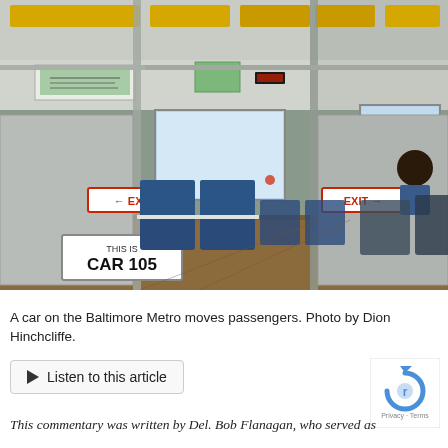[Figure (photo): Interior of a Baltimore Metro rail car showing blue seats, yellow ceiling lights, metal poles, exit signs, and a sign reading 'THIS IS CAR 105'. One passenger is visible seated near the middle of the car.]
A car on the Baltimore Metro moves passengers. Photo by Dion Hinchcliffe.
Listen to this article
This commentary was written by Del. Bob Flanagan, who served as